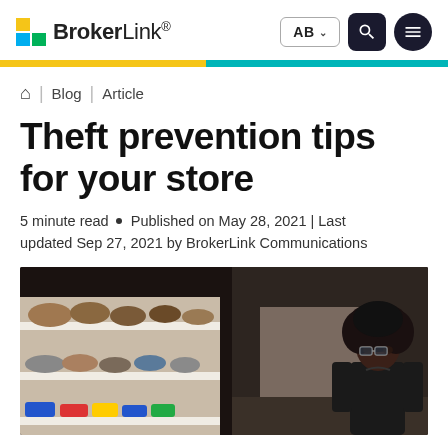BrokerLink — AB — navigation header
Blog | Article
Theft prevention tips for your store
5 minute read • Published on May 28, 2021 | Last updated Sep 27, 2021 by BrokerLink Communications
[Figure (photo): A woman with natural hair wearing glasses stands in a retail shoe store with shelves of shoes visible in the background.]